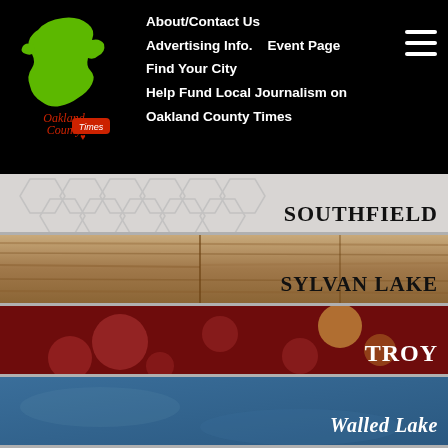Oakland County Times — About/Contact Us  Advertising Info.  Event Page  Find Your City  Help Fund Local Journalism on Oakland County Times
[Figure (logo): Oakland County Times logo with green Michigan state outline and red/white text]
[Figure (photo): Southfield city banner tile with hexagonal tile background pattern]
[Figure (photo): Sylvan Lake city banner tile with wood floor background]
[Figure (photo): Troy city banner tile with dark red bokeh light background]
[Figure (photo): Walled Lake city banner tile with blue textured background]
[Figure (photo): Waterford city banner tile with light blue/teal background]